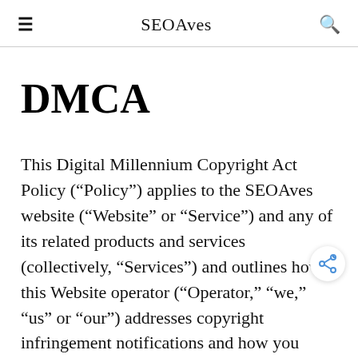SEOAves
DMCA
This Digital Millennium Copyright Act Policy (“Policy”) applies to the SEOAves website (“Website” or “Service”) and any of its related products and services (collectively, “Services”) and outlines how this Website operator (“Operator,” “we,” “us” or “our”) addresses copyright infringement notifications and how you